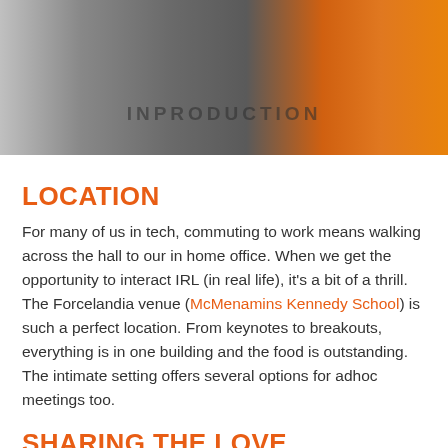[Figure (photo): Photo of a person wearing a dark gray t-shirt with text, next to an orange background]
LOCATION
For many of us in tech, commuting to work means walking across the hall to our in home office. When we get the opportunity to interact IRL (in real life), it's a bit of a thrill. The Forcelandia venue (McMenamins Kennedy School) is such a perfect location. From keynotes to breakouts, everything is in one building and the food is outstanding. The intimate setting offers several options for adhoc meetings too.
SHARING THE LOVE
For my Forcelandia presentation I wanted to